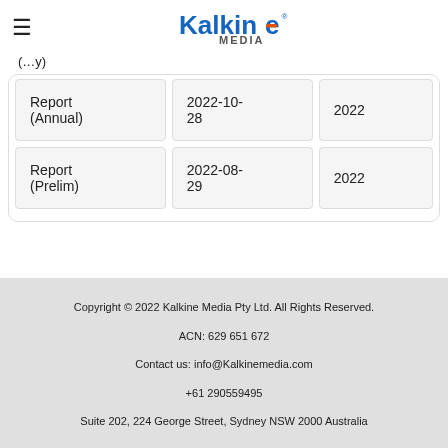Kalkine Media
(…y)
| Report (Annual) | 2022-10-28 | 2022 |
| Report (Prelim) | 2022-08-29 | 2022 |
Copyright © 2022 Kalkine Media Pty Ltd. All Rights Reserved.
ACN: 629 651 672
Contact us: info@Kalkinemedia.com
+61 290559495
Suite 202, 224 George Street, Sydney NSW 2000 Australia